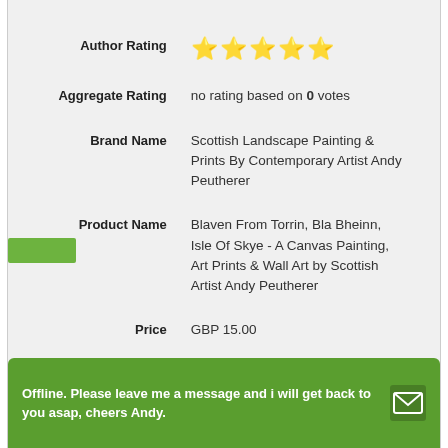| Field | Value |
| --- | --- |
| Author Rating | ★★★★★ |
| Aggregate Rating | no rating based on 0 votes |
| Brand Name | Scottish Landscape Painting & Prints By Contemporary Artist Andy Peutherer |
| Product Name | Blaven From Torrin, Bla Bheinn, Isle Of Skye - A Canvas Painting, Art Prints & Wall Art by Scottish Artist Andy Peutherer |
| Price | GBP 15.00 |
Offline. Please leave me a message and i will get back to you asap, cheers Andy.